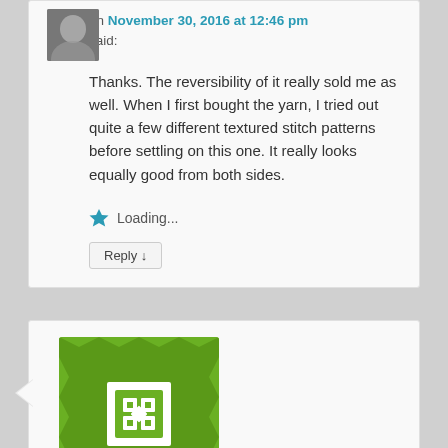on November 30, 2016 at 12:46 pm said:
Thanks. The reversibility of it really sold me as well. When I first bought the yarn, I tried out quite a few different textured stitch patterns before settling on this one. It really looks equally good from both sides.
Loading...
Reply ↓
Jocelyn Tobin on December 4, 2016 at 12:20 am said:
Hi Kelly. I have been reading all of your posts and